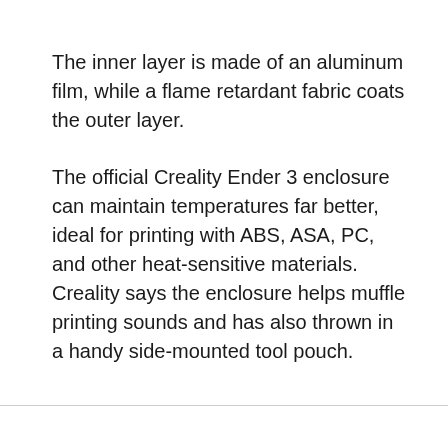The inner layer is made of an aluminum film, while a flame retardant fabric coats the outer layer.
The official Creality Ender 3 enclosure can maintain temperatures far better, ideal for printing with ABS, ASA, PC, and other heat-sensitive materials. Creality says the enclosure helps muffle printing sounds and has also thrown in a handy side-mounted tool pouch.